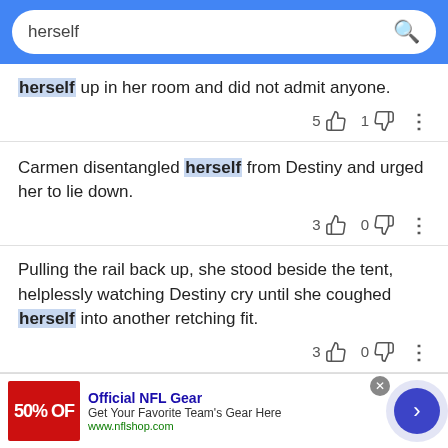[Figure (screenshot): Search bar with query 'herself' on blue background]
herself up in her room and did not admit anyone. 5 [thumbup] 1 [thumbdown]
Carmen disentangled herself from Destiny and urged her to lie down. 3 [thumbup] 0 [thumbdown]
Pulling the rail back up, she stood beside the tent, helplessly watching Destiny cry until she coughed herself into another retching fit. 3 [thumbup] 0 [thumbdown]
[Figure (screenshot): Advertisement banner: Official NFL Gear - 50% OFF - Get Your Favorite Team's Gear Here - www.nflshop.com]